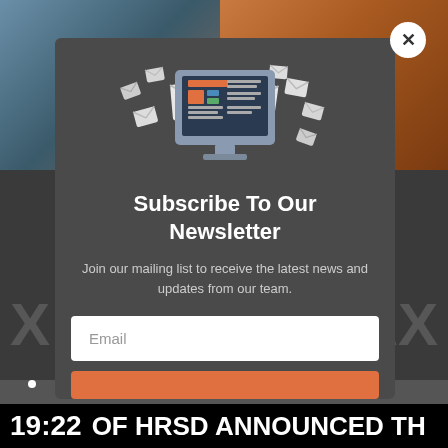[Figure (screenshot): Website screenshot showing a newsletter subscription modal popup over a travel/nature website background. The modal has a dark grey background with an illustration of a desktop monitor surrounded by flying envelopes, a title 'Subscribe To Our Newsletter', descriptive text, an email input field, and a subscribe button. A circular close (X) button appears at the top right. A TV news ticker bar is visible at the bottom showing '19:22 OF HRSD ANNOUNCED TH'.]
Subscribe To Our Newsletter
Join our mailing list to receive the latest news and updates from our team.
Email
19:22 OF HRSD ANNOUNCED TH